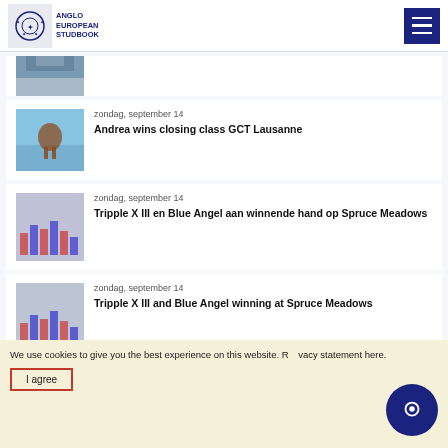Anglo European Studbook
[Figure (screenshot): Partially visible news card thumbnail at top]
zondag, september 14
Andrea wins closing class GCT Lausanne
zondag, september 14
Tripple X III en Blue Angel aan winnende hand op Spruce Meadows
zondag, september 14
Tripple X III and Blue Angel winning at Spruce Meadows
zondag, september 14
We use cookies to give you the best experience on this website. Read our privacy statement here.
I agree